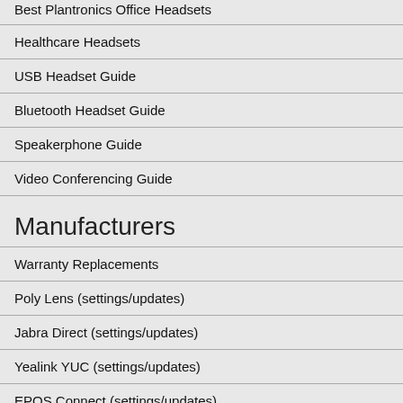Best Plantronics Office Headsets
Healthcare Headsets
USB Headset Guide
Bluetooth Headset Guide
Speakerphone Guide
Video Conferencing Guide
Manufacturers
Warranty Replacements
Poly Lens (settings/updates)
Jabra Direct (settings/updates)
Yealink YUC (settings/updates)
EPOS Connect (settings/updates)